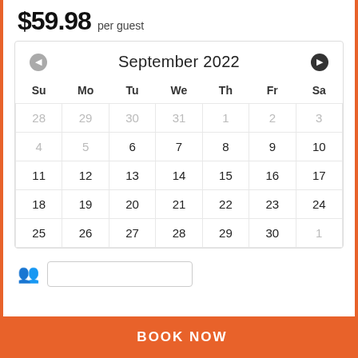$59.98 per guest
[Figure (other): A booking calendar widget showing September 2022. Navigation arrows on left and right. Days of week headers: Su, Mo, Tu, We, Th, Fr, Sa. Dates shown: 28-30 (dim, prior month), 1-3 (dim), 4-5 (dim), 6-30 (active September dates), 1 (dim, next month). A BOOK NOW orange button at the bottom.]